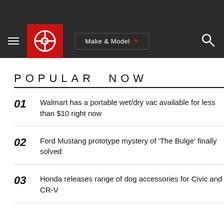Car Gurus navigation bar with logo, Make & Model selector, and search icon
POPULAR NOW
01  Walmart has a portable wet/dry vac available for less than $10 right now  0
02  Ford Mustang prototype mystery of 'The Bulge' finally solved  16
03  Honda releases range of dog accessories for Civic and CR-V  3